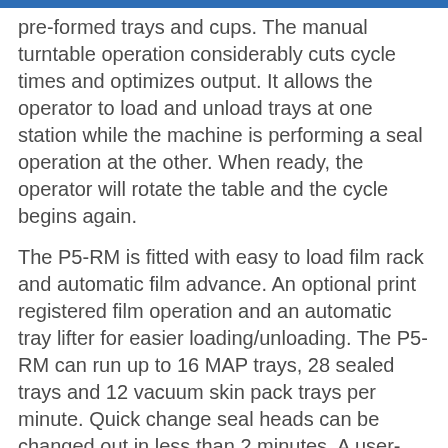pre-formed trays and cups. The manual turntable operation considerably cuts cycle times and optimizes output. It allows the operator to load and unload trays at one station while the machine is performing a seal operation at the other. When ready, the operator will rotate the table and the cycle begins again.
The P5-RM is fitted with easy to load film rack and automatic film advance. An optional print registered film operation and an automatic tray lifter for easier loading/unloading. The P5-RM can run up to 16 MAP trays, 28 sealed trays and 12 vacuum skin pack trays per minute. Quick change seal heads can be changed out in less than 2 minutes. A user-friendly touch screen display allows easy product set-up, storage of up to 99 product recipes and multiple language selection including English, Spanish and French